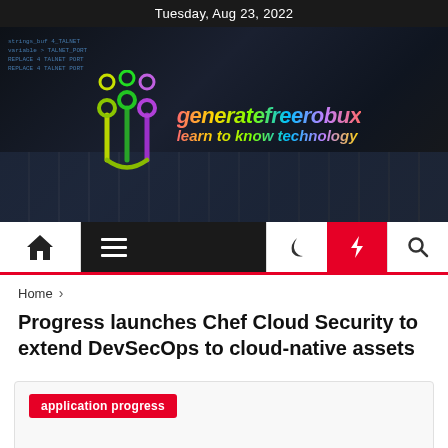Tuesday, Aug 23, 2022
[Figure (logo): generatefreerobux website banner with circuit/fork logo icon and colorful gradient text 'generatefreerobux' and 'learn to know technology' on dark background resembling code editor]
[Figure (infographic): Navigation bar with home icon, hamburger menu on black background, moon icon, red lightning bolt button, and search icon]
Home > Progress launches Chef Cloud Security to extend DevSecOps to cloud-native assets
Progress launches Chef Cloud Security to extend DevSecOps to cloud-native assets
application progress